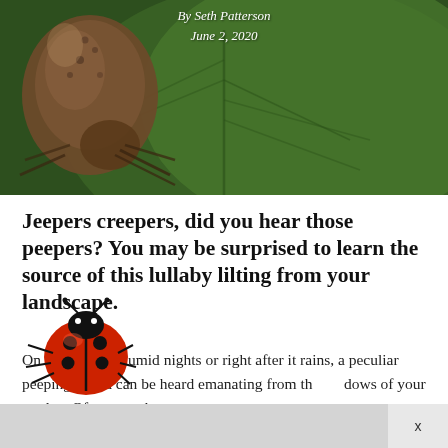[Figure (photo): Close-up photo of a brown insect/beetle on a green leaf with visible leaf veins, dark background]
By Seth Patterson
June 2, 2020
Jeepers creepers, did you hear those peepers? You may be surprised to learn the source of this lullaby lilting from your landscape.
On excessively humid nights or right after it rains, a peculiar peeping sound can be heard emanating from the shadows of your garden. Of course, the moment
[Figure (photo): Red ladybug with black spots crawling, photographed from close up, positioned at bottom left of the page]